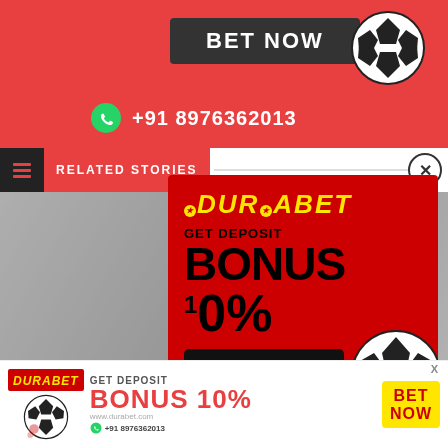[Figure (infographic): Top partial Durabet ad banner showing BET NOW button, soccer ball, WhatsApp icon and phone number +91 8976362013 on red background]
RELATED STORIES
[Figure (infographic): Durabet popup ad on red background: DURABET logo in yellow, GET DEPOSIT, BONUS 10%, BET NOW button, soccer ball graphic, WhatsApp +91 8976362013]
NEWS
[Figure (infographic): Bottom banner Durabet ad: DURABET logo, soccer ball, GET DEPOSIT BONUS 10%, BET NOW button, www.durabet.com, WhatsApp +91 8976362013]